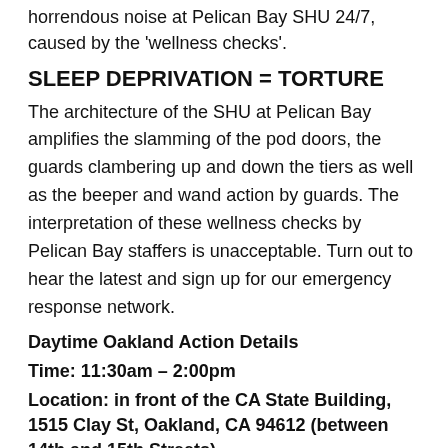horrendous noise at Pelican Bay SHU 24/7, caused by the 'wellness checks'.
SLEEP DEPRIVATION = TORTURE
The architecture of the SHU at Pelican Bay amplifies the slamming of the pod doors, the guards clambering up and down the tiers as well as the beeper and wand action by guards. The interpretation of these wellness checks by Pelican Bay staffers is unacceptable. Turn out to hear the latest and sign up for our emergency response network.
Daytime Oakland Action Details
Time: 11:30am – 2:00pm
Location: in front of the CA State Building, 1515 Clay St, Oakland, CA 94612 (between 14th and 15th Streets)
Contact phone: 510-435-1898
Contact email: phssreachingout@gmail.com
Oakland Nighttime Action